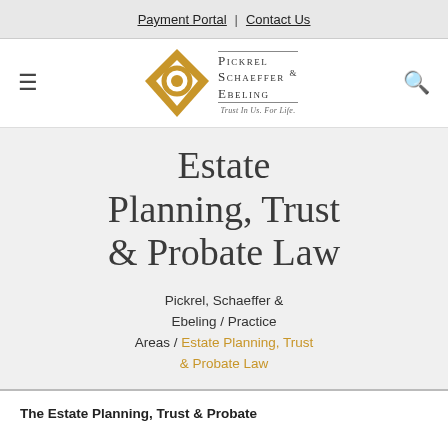Payment Portal | Contact Us
[Figure (logo): Pickrel Schaeffer & Ebeling law firm logo with gold diamond shape and firm name. Tagline: Trust In Us. For Life.]
Estate Planning, Trust & Probate Law
Pickrel, Schaeffer & Ebeling / Practice Areas / Estate Planning, Trust & Probate Law
The Estate Planning, Trust & Probate